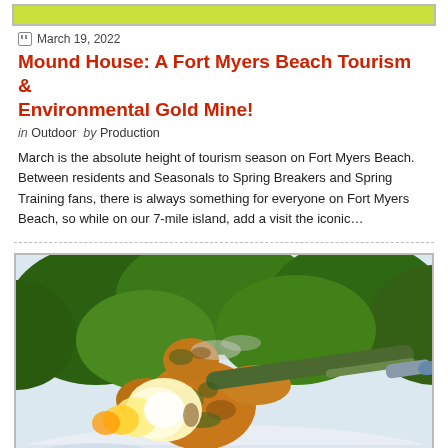[Figure (photo): Green/yellow banner image at top of article block]
March 19, 2022
Mound House: A Fort Myers Beach Tourism & Environmental Gold Mine!
in Outdoor  by Production
March is the absolute height of tourism season on Fort Myers Beach. Between residents and Seasonals to Spring Breakers and Spring Training fans, there is always something for everyone on Fort Myers Beach, so while on our 7-mile island, add a visit the iconic…
[Figure (photo): Photo of a soldier in camouflage gear firing a rocket launcher, with flame and smoke visible, in a snowy/outdoor setting with green foliage in background.]